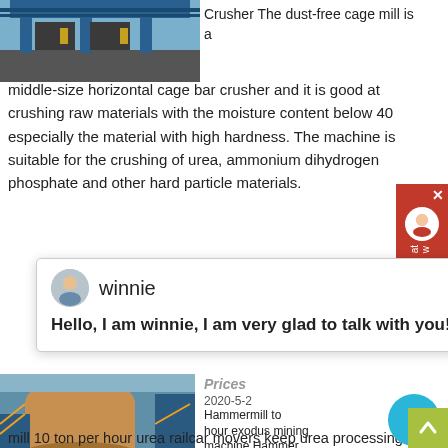[Figure (photo): Industrial cage mill / crusher machine in blue and grey, viewed from above]
Crusher The dust-free cage mill is a middle-size horizontal cage bar crusher and it is good at crushing raw materials with the moisture content below 40 especially the material with high hardness. The machine is suitable for the crushing of urea, ammonium dihydrogen phosphate and other hard particle materials.
Hello, I am winnie, I am very glad to talk with you!
[Figure (photo): Large industrial hammermill / mining machine with blue and orange coloring, outdoor setting with scaffolding]
Prices
2020-5-2 Hammermill ton hour exodus mining machine.Hammer mill 10 ton per hour urea railcar movers keep urea processing plants pushing forward posted by hp blog on wed dec 16 2015 1000 am drying rates can range from a few hundred pounds per